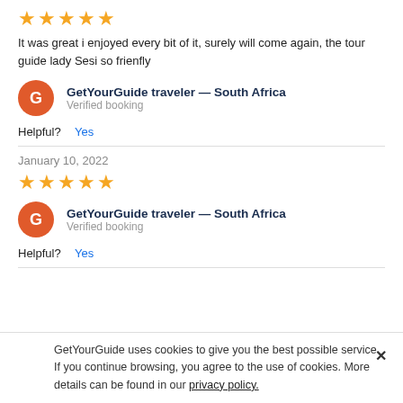[Figure (other): 5 gold stars rating]
It was great i enjoyed every bit of it, surely will come again, the tour guide lady Sesi so frienfly
GetYourGuide traveler — South Africa
Verified booking
Helpful? Yes
January 10, 2022
[Figure (other): 4 gold stars rating]
GetYourGuide traveler — South Africa
Verified booking
Helpful? Yes
GetYourGuide uses cookies to give you the best possible service. If you continue browsing, you agree to the use of cookies. More details can be found in our privacy policy.